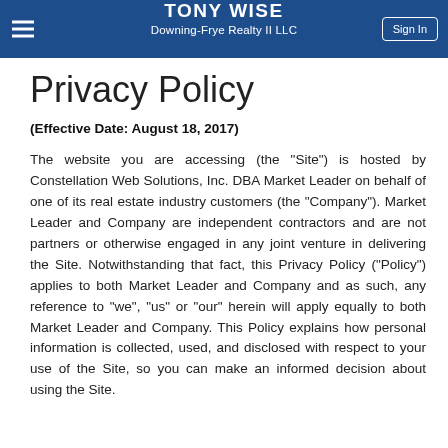TONY WISE
Downing-Frye Realty II LLC
Privacy Policy
(Effective Date: August 18, 2017)
The website you are accessing (the "Site") is hosted by Constellation Web Solutions, Inc. DBA Market Leader on behalf of one of its real estate industry customers (the "Company"). Market Leader and Company are independent contractors and are not partners or otherwise engaged in any joint venture in delivering the Site. Notwithstanding that fact, this Privacy Policy ("Policy") applies to both Market Leader and Company and as such, any reference to "we", "us" or "our" herein will apply equally to both Market Leader and Company. This Policy explains how personal information is collected, used, and disclosed with respect to your use of the Site, so you can make an informed decision about using the Site.